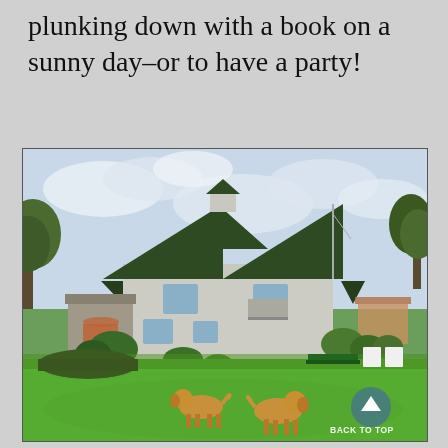plunking down with a book on a sunny day–or to have a party!
[Figure (photo): A large white shingle-style house with distinctive dark green multi-peaked roof and a small cupola, surrounded by lush gardens and a wide green lawn. Two golden retrievers stand on the grass in the foreground. Outdoor furniture and garden beds are visible around the house. A sailboat mast rises in the background to the right. A 'Back to Top' button overlay appears at the bottom right of the photo.]